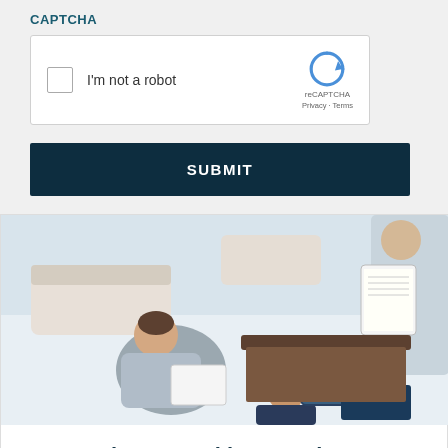CAPTCHA
[Figure (screenshot): reCAPTCHA widget with checkbox labeled 'I'm not a robot' and reCAPTCHA logo with Privacy and Terms links]
SUBMIT
[Figure (photo): Overhead view of business professionals in a lobby reviewing documents and tablets]
Business Banking On The Go
LEARN MORE >